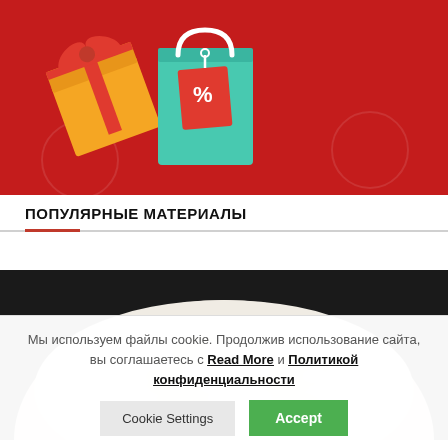[Figure (illustration): Promotional banner with red background featuring a gift box (orange/yellow) on the left, a teal shopping bag with a percentage tag in the center, and a golden dollar coupon on the right]
ПОПУЛЯРНЫЕ МАТЕРИАЛЫ
[Figure (photo): Close-up photo of white popcorn in a bowl on a dark background]
Мы используем файлы cookie. Продолжив использование сайта, вы соглашаетесь с Read More и Политикой конфиденциальности
Cookie Settings | Accept